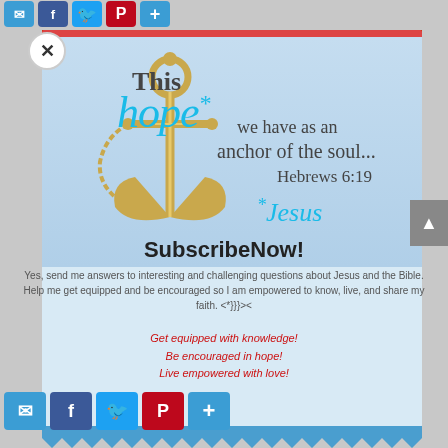[Figure (infographic): Social share icons row (email, facebook, twitter, pinterest, share+) at top of page]
[Figure (illustration): Religious inspirational card with golden anchor illustration, Bible verse 'This hope* we have as an anchor of the soul... Hebrews 6:19' with *Jesus in cyan italic, on light blue background]
SubscribeNow!
Yes, send me answers to interesting and challenging questions about Jesus and the Bible.  Help me get equipped and be encouraged so I am empowered to know, live, and share my faith.  <*}}}><
Get equipped with knowledge!
Be encouraged in hope!
Live empowered with love!
[Figure (infographic): Social share icons row (email, facebook, twitter, pinterest, share+) at bottom of page]